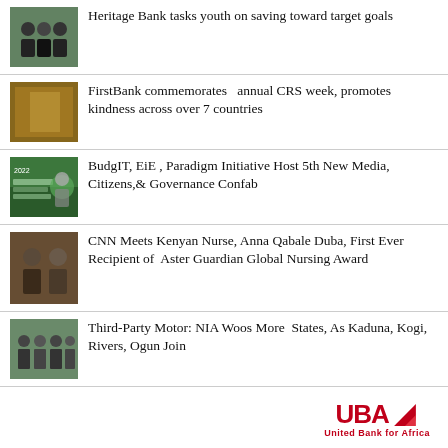Heritage Bank tasks youth on saving toward target goals
FirstBank commemorates  annual CRS week, promotes kindness across over 7 countries
BudgIT, EiE , Paradigm Initiative Host 5th New Media, Citizens,& Governance Confab
CNN Meets Kenyan Nurse, Anna Qabale Duba, First Ever Recipient of  Aster Guardian Global Nursing Award
Third-Party Motor: NIA Woos More  States, As Kaduna, Kogi, Rivers, Ogun Join
[Figure (logo): UBA United Bank for Africa logo in red]